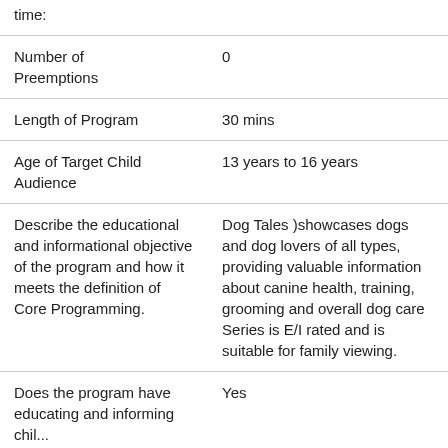| time: |  |
| Number of Preemptions | 0 |
| Length of Program | 30 mins |
| Age of Target Child Audience | 13 years to 16 years |
| Describe the educational and informational objective of the program and how it meets the definition of Core Programming. | Dog Tales )showcases dogs and dog lovers of all types, providing valuable information about canine health, training, grooming and overall dog care Series is E/I rated and is suitable for family viewing. |
| Does the program have educating and informing children... | Yes |